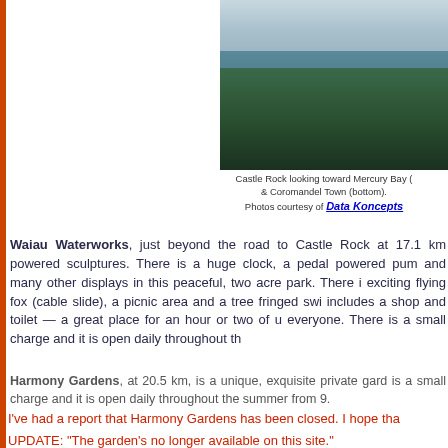[Figure (photo): Aerial coastal landscape photograph showing Mercury Bay and Coromandel Town from Castle Rock, with sky, sea and forested hills]
Castle Rock looking toward Mercury Bay (& Coromandel Town (bottom).
Photos courtesy of Data Koncepts
Waiau Waterworks, just beyond the road to Castle Rock at 17.1 km powered sculptures. There is a huge clock, a pedal powered pum and many other displays in this peaceful, two acre park. There i exciting flying fox (cable slide), a picnic area and a tree fringed swi includes a shop and toilet — a great place for an hour or two of u everyone. There is a small charge and it is open daily throughout th
Harmony Gardens, at 20.5 km, is a unique, exquisite private gard is a small charge and it is open daily throughout the summer from 9.
I’ve had a report that Harmony Gardens has been closed. I hope tha
UPDATE: "The garden's no longer available on this site."
Now that you're on the other side of the Peninsula, take time to visi 1.5 km to SH25 where you turn right and proceed 3.7 km into tow